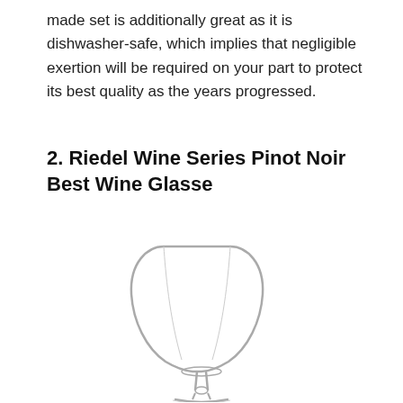made set is additionally great as it is dishwasher-safe, which implies that negligible exertion will be required on your part to protect its best quality as the years progressed.
2. Riedel Wine Series Pinot Noir Best Wine Glasse
[Figure (illustration): A clear empty wine glass (large bowl, tapered top, short stem) shown against a white background.]